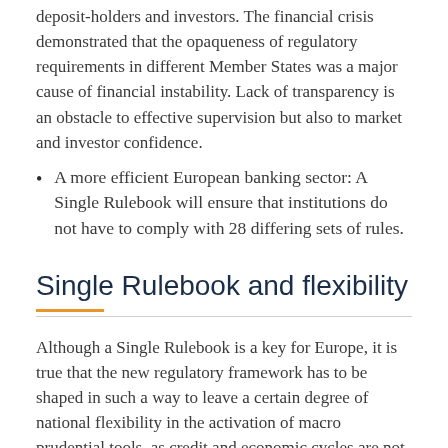deposit-holders and investors. The financial crisis demonstrated that the opaqueness of regulatory requirements in different Member States was a major cause of financial instability. Lack of transparency is an obstacle to effective supervision but also to market and investor confidence.
A more efficient European banking sector: A Single Rulebook will ensure that institutions do not have to comply with 28 differing sets of rules.
Single Rulebook and flexibility
Although a Single Rulebook is a key for Europe, it is true that the new regulatory framework has to be shaped in such a way to leave a certain degree of national flexibility in the activation of macro prudential tools, as credit and economic cycles are not synchronised across the EU.
For this reason, Member States have retained some possibilities to require their institutions to hold more capital. For example, Member States will retain the possibility to set higher capital requirements for real estate lending, thereby being able to address real estate bubbles. If they do, this will also apply to institutions from other Member States that do business in that Member State. Moreover, each